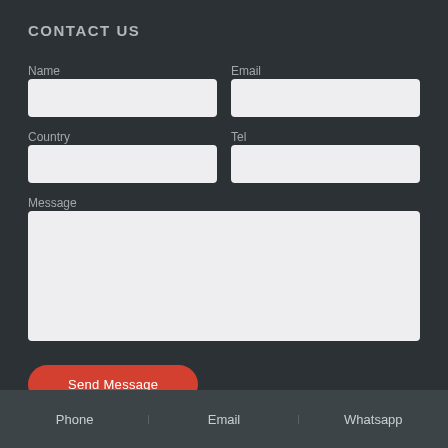CONTACT US
Name
Email
Country
Tel
Message
Send Message
Phone | Email | Whatsapp